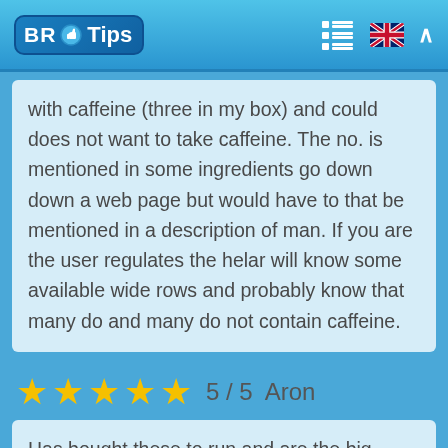BR Tips
with caffeine (three in my box) and could does not want to take caffeine. The no. is mentioned in some ingredients go down down a web page but would have to that be mentioned in a description of man. If you are the user regulates the helar will know some available wide rows and probably know that many do and many do not contain caffeine.
5 / 5  Aron
Has bought these to run and are the big defender of his 5 in 1 and are really and the content...